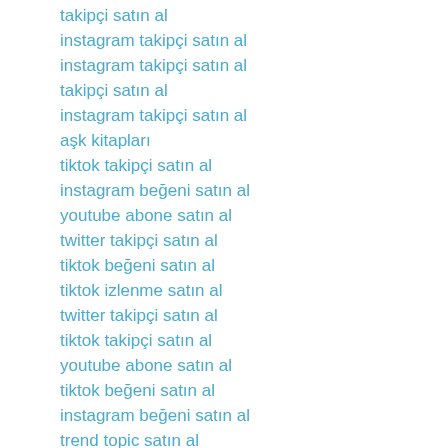takipçi satın al
instagram takipçi satın al
instagram takipçi satın al
takipçi satın al
instagram takipçi satın al
aşk kitapları
tiktok takipçi satın al
instagram beğeni satın al
youtube abone satın al
twitter takipçi satın al
tiktok beğeni satın al
tiktok izlenme satın al
twitter takipçi satın al
tiktok takipçi satın al
youtube abone satın al
tiktok beğeni satın al
instagram beğeni satın al
trend topic satın al
trend topic satın al
youtube abone satın al
beğeni satın al
tiktok izlenme satın al